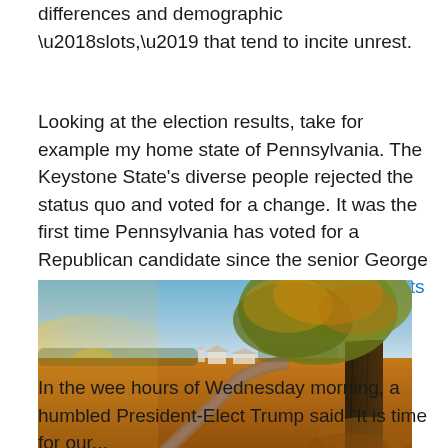differences and demographic ‘slots,’ that tend to incite unrest.
Looking at the election results, take for example my home state of Pennsylvania. The Keystone State’s diverse people rejected the status quo and voted for a change. It was the first time Pennsylvania has voted for a Republican candidate since the senior George H. W. Bush in 1988. In fact, the map of results depicts it.
[Figure (photo): Rural Pennsylvania autumn landscape with a large tree on the right, a winding road, and farm buildings in the background at golden hour sunset.]
In the wee hours of Wednesday morning, a humbled President-Elect Trump said “It is time for our...